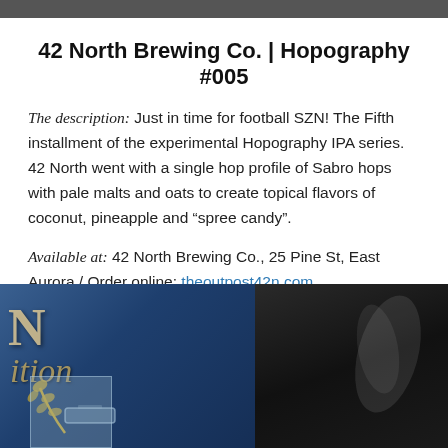[Figure (photo): Top decorative photo strip, dark background]
42 North Brewing Co. | Hopography #005
The description: Just in time for football SZN! The Fifth installment of the experimental Hopography IPA series. 42 North went with a single hop profile of Sabro hops with pale malts and oats to create topical flavors of coconut, pineapple and “spree candy”.
Available at: 42 North Brewing Co., 25 Pine St, East Aurora / Order online: theoutpost42n.com
[Figure (photo): Photo collage of 42 North Brewing Co. exterior sign with blue and gold signage and dark interior/equipment on the right]